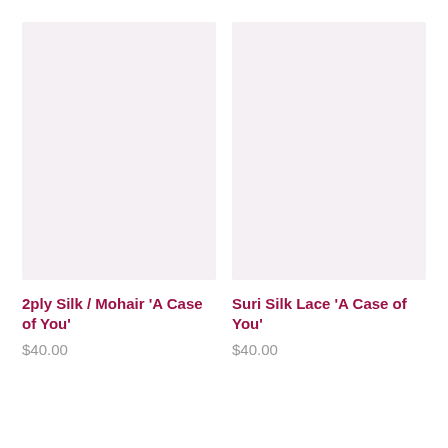[Figure (other): Product image placeholder with light pink/mauve background for 2ply Silk / Mohair 'A Case of You']
2ply Silk / Mohair 'A Case of You'
$40.00
[Figure (other): Product image placeholder with light pink/mauve background for Suri Silk Lace 'A Case of You']
Suri Silk Lace 'A Case of You'
$40.00